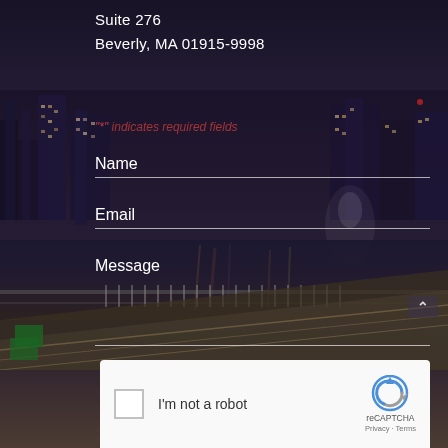[Figure (photo): Night city skyline with illuminated skyscrapers reflected in water, with roads and a bridge in the foreground. Dark purple/blue atmospheric background.]
Suite 276
Beverly, MA 01915-9998
"*" indicates required fields
Name
Email
Message
[Figure (other): reCAPTCHA widget with checkbox 'I'm not a robot', reCAPTCHA logo, Privacy and Terms links]